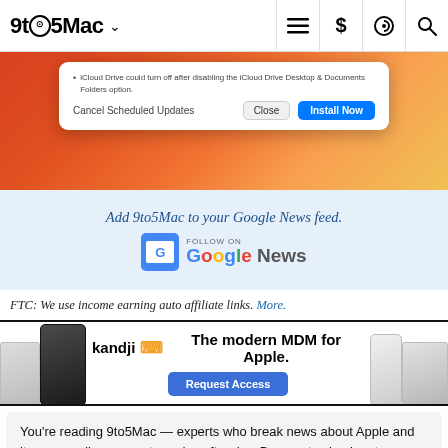9to5Mac
[Figure (screenshot): macOS software update dialog showing iCloud Drive warning with Cancel Scheduled Updates, Close, and Install Now buttons]
[Figure (infographic): Google News follow banner: Add 9to5Mac to your Google News feed. Follow On Google News badge.]
FTC: We use income earning auto affiliate links. More.
[Figure (infographic): Kandji advertisement banner: The modern MDM for Apple. Request Access button with Apple device images.]
You're reading 9to5Mac — experts who break news about Apple and its surrounding ecosystem, day after day. Be sure to check out our homepage for all the latest news, and follow 9to5Mac on Twitter, Facebook, and